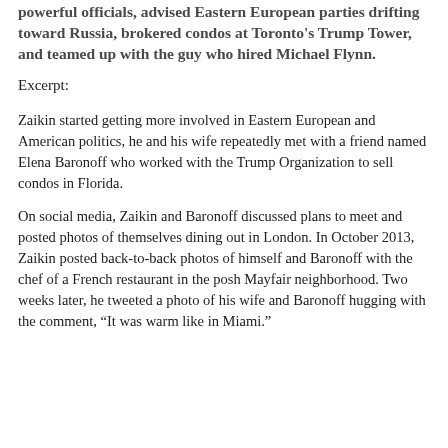powerful officials, advised Eastern European parties drifting toward Russia, brokered condos at Toronto's Trump Tower, and teamed up with the guy who hired Michael Flynn.
Excerpt:
Zaikin started getting more involved in Eastern European and American politics, he and his wife repeatedly met with a friend named Elena Baronoff who worked with the Trump Organization to sell condos in Florida.
On social media, Zaikin and Baronoff discussed plans to meet and posted photos of themselves dining out in London. In October 2013, Zaikin posted back-to-back photos of himself and Baronoff with the chef of a French restaurant in the posh Mayfair neighborhood. Two weeks later, he tweeted a photo of his wife and Baronoff hugging with the comment, “It was warm like in Miami.”